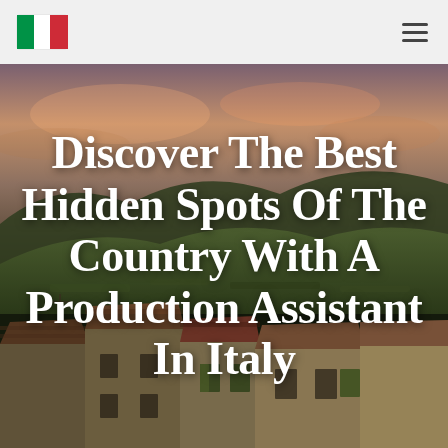[Figure (illustration): Italian landscape photograph showing rolling Tuscan hills with vineyards and olive trees in the background under a dramatic cloudy sky, and traditional Italian stone rooftops with terracotta tiles and green shutters in the foreground.]
Discover The Best Hidden Spots Of The Country With A Production Assistant In Italy